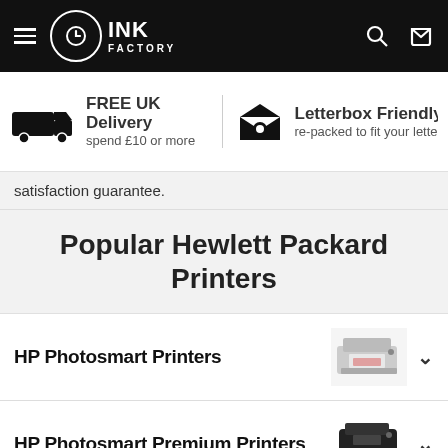INK FACTORY
FREE UK Delivery spend £10 or more | Letterbox Friendly re-packed to fit your lette
satisfaction guarantee.
Popular Hewlett Packard Printers
HP Photosmart Printers
HP Photosmart Premium Printers
HP OfficeJet Printers